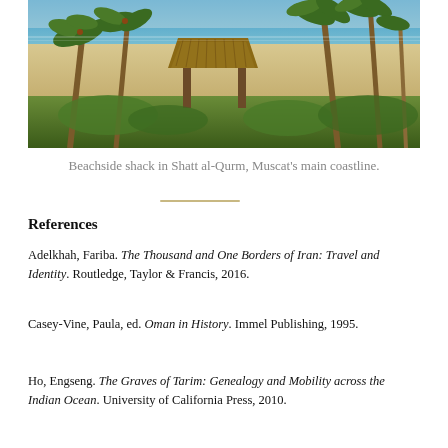[Figure (photo): Beachside shack in Shatt al-Qurm, Muscat's main coastline. Palm trees, sandy beach, and blue sea visible.]
Beachside shack in Shatt al-Qurm, Muscat's main coastline.
References
Adelkhah, Fariba. The Thousand and One Borders of Iran: Travel and Identity. Routledge, Taylor & Francis, 2016.
Casey-Vine, Paula, ed. Oman in History. Immel Publishing, 1995.
Ho, Engseng. The Graves of Tarim: Genealogy and Mobility across the Indian Ocean. University of California Press, 2010.